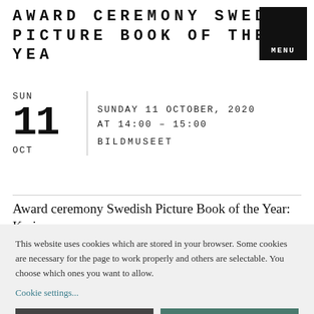AWARD CEREMONY SWEDISH PICTURE BOOK OF THE YEAR
SUN
11
OCT
SUNDAY 11 OCTOBER, 2020
AT 14:00 – 15:00
BILDMUSEET
Award ceremony Swedish Picture Book of the Year: Karin
This website uses cookies which are stored in your browser. Some cookies are necessary for the page to work properly and others are selectable. You choose which ones you want to allow.
Cookie settings...
Allow only necessary cookies
Allow all cookies